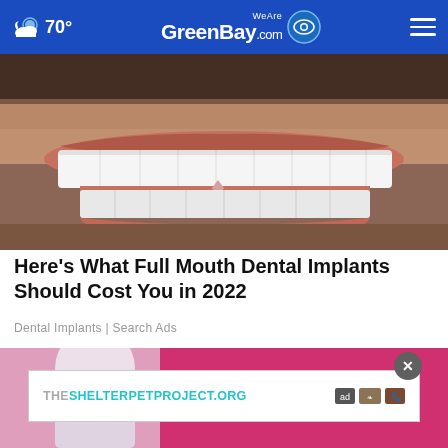70° WeAreGreenBay.com
[Figure (photo): Close-up photo of a man smiling showing very white dental implant teeth, with stubble/beard visible]
Here's What Full Mouth Dental Implants Should Cost You in 2022
Dental Implants | Search Ads
[Figure (photo): Partial image of a person with a pink background, overlaid with an advertisement for THESHELTERPETPROJECT.ORG with a close button]
THESHELTERPETPROJECT.ORG